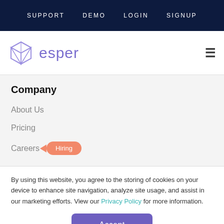SUPPORT   DEMO   LOGIN   SIGNUP
[Figure (logo): Esper logo: purple cube icon and the word 'esper' in purple text, with a hamburger menu icon on the right]
Company
About Us
Pricing
Careers  Hiring
By using this website, you agree to the storing of cookies on your device to enhance site navigation, analyze site usage, and assist in our marketing efforts. View our Privacy Policy for more information.
Accept